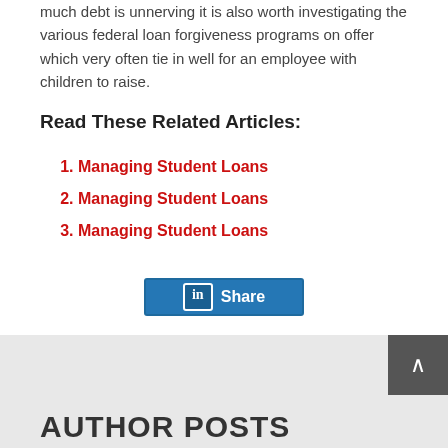much debt is unnerving it is also worth investigating the various federal loan forgiveness programs on offer which very often tie in well for an employee with children to raise.
Read These Related Articles:
Managing Student Loans
Managing Student Loans
Managing Student Loans
[Figure (other): LinkedIn Share button]
AUTHOR POSTS